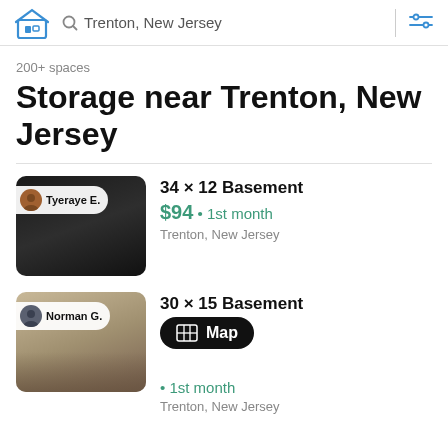Trenton, New Jersey
200+ spaces
Storage near Trenton, New Jersey
34 × 12 Basement
$94 • 1st month
Trenton, New Jersey
30 × 15 Basement
1st month
Trenton, New Jersey
[Figure (screenshot): Map button overlay on second listing]